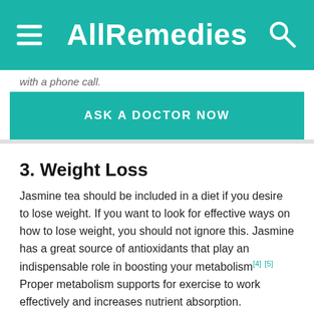AllRemedies
with a phone call.
ASK A DOCTOR NOW
3. Weight Loss
Jasmine tea should be included in a diet if you desire to lose weight. If you want to look for effective ways on how to lose weight, you should not ignore this. Jasmine has a great source of antioxidants that play an indispensable role in boosting your metabolism[4] [5] Proper metabolism supports for exercise to work effectively and increases nutrient absorption. Additionally, drinking jasmine tea every day speeds up the rate of fat burning[5a].